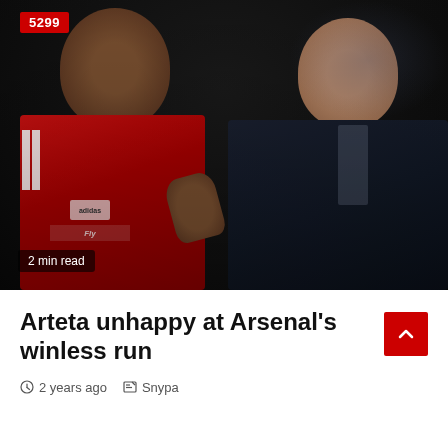[Figure (photo): Two men in close conversation — one wearing a red Arsenal jersey (player, left) and one in a dark puffer jacket (manager, right), appearing to have an intense discussion on a football pitch.]
Arteta unhappy at Arsenal's winless run
2 years ago  Snypa